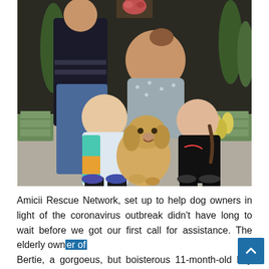[Figure (photo): A family photo showing a man, a woman, and two girls crouching outdoors with a golden retriever dog. They are posing together in front of a dark wooden building with evergreen trees and daffodils in the background.]
Amicii Rescue Network, set up to help dog owners in light of the coronavirus outbreak didn't have long to wait before we got our first call for assistance. The elderly owner of Bertie, a gorgoeus, but boisterous 11-month-old boy had